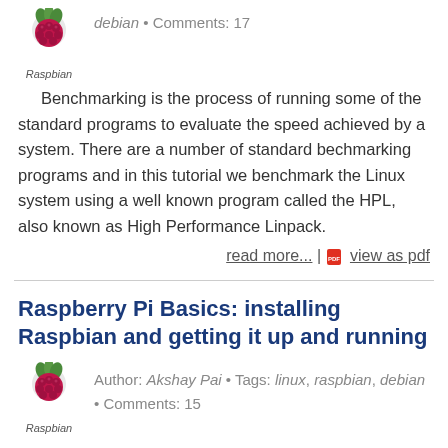[Figure (logo): Raspbian logo - raspberry icon with Raspbian label]
debian • Comments: 17
Benchmarking is the process of running some of the standard programs to evaluate the speed achieved by a system. There are a number of standard bechmarking programs and in this tutorial we benchmark the Linux system using a well known program called the HPL, also known as High Performance Linpack.
read more... | view as pdf
Raspberry Pi Basics: installing Raspbian and getting it up and running
[Figure (logo): Raspbian logo - raspberry icon with Raspbian label]
Author: Akshay Pai • Tags: linux, raspbian, debian • Comments: 15
So, are you a person who got a raspberry pi (aka "pi") and want to start building something with it but